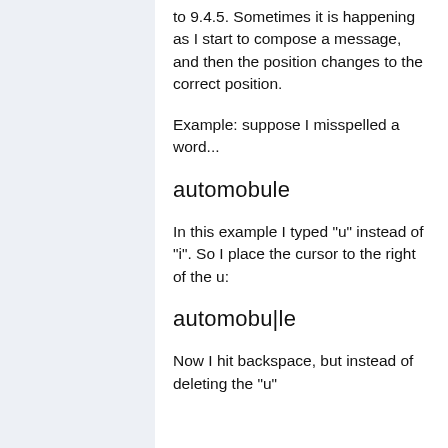to 9.4.5. Sometimes it is happening as I start to compose a message, and then the position changes to the correct position.
Example: suppose I misspelled a word...
automobule
In this example I typed "u" instead of "i". So I place the cursor to the right of the u:
automobu|le
Now I hit backspace, but instead of deleting the "u"